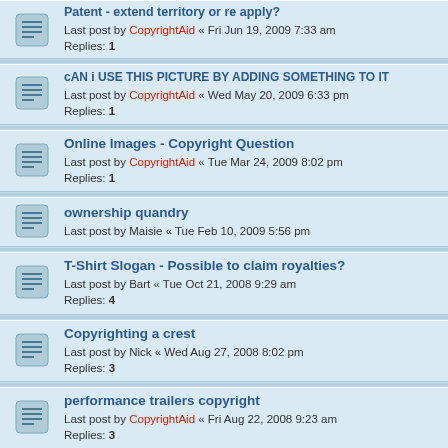Patent - extend territory or re apply?
Last post by CopyrightAid « Fri Jun 19, 2009 7:33 am
Replies: 1
cAN i USE THIS PICTURE BY ADDING SOMETHING TO IT
Last post by CopyrightAid « Wed May 20, 2009 6:33 pm
Replies: 1
Online Images - Copyright Question
Last post by CopyrightAid « Tue Mar 24, 2009 8:02 pm
Replies: 1
ownership quandry
Last post by Maisie « Tue Feb 10, 2009 5:56 pm
T-Shirt Slogan - Possible to claim royalties?
Last post by Bart « Tue Oct 21, 2008 9:29 am
Replies: 4
Copyrighting a crest
Last post by Nick « Wed Aug 27, 2008 8:02 pm
Replies: 3
performance trailers copyright
Last post by CopyrightAid « Fri Aug 22, 2008 9:23 am
Replies: 3
Unable to locate the copyright holder!
Last post by Warlock « Tue Jul 22, 2008 5:34 pm
Replies: 1
Copyright law for our documentary
Last post by CopyrightAid « Thu Mar 13, 2008 11:17 am
Replies: 1
school photos copyright
Last post by CopyrightAid « Tue Dec 04, 2007 8:10 am